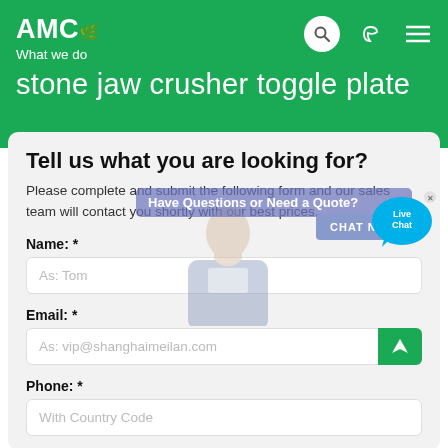AMC What we do
stone jaw crusher toggle plate
Tell us what you are looking for?
Please complete and submit the following form and our sales team will contact you shortly with our best prices.
Name: *
As: Tom
Email: *
As: vip@shanghaimeilan.com
Phone: *
With Country Code